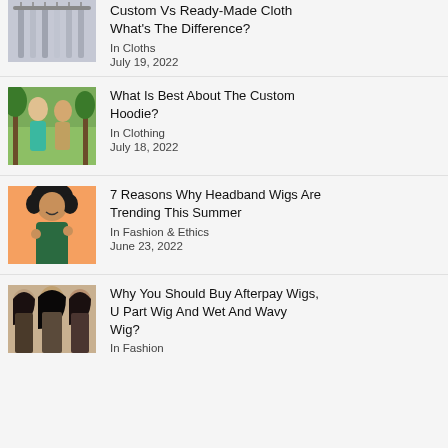[Figure (photo): Clothes hanging on a rack, partial view at top of page]
Custom Vs Ready-Made Cloth What's The Difference?
In Cloths
July 19, 2022
[Figure (photo): Two people in casual clothing outdoors, one wearing a teal hoodie]
What Is Best About The Custom Hoodie?
In Clothing
July 18, 2022
[Figure (photo): Woman with curly black hair wearing a headband wig, smiling against an orange background]
7 Reasons Why Headband Wigs Are Trending This Summer
In Fashion & Ethics
June 23, 2022
[Figure (photo): Three women with long wavy wigs showcasing different wig styles]
Why You Should Buy Afterpay Wigs, U Part Wig And Wet And Wavy Wig?
In Fashion